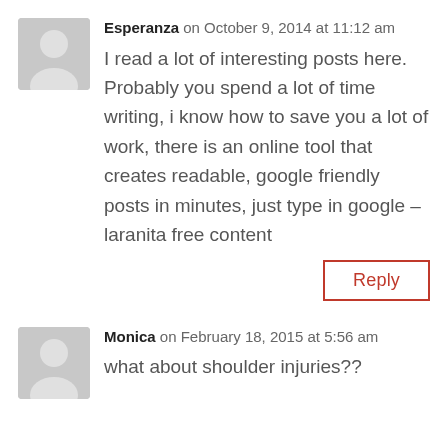Esperanza on October 9, 2014 at 11:12 am
I read a lot of interesting posts here. Probably you spend a lot of time writing, i know how to save you a lot of work, there is an online tool that creates readable, google friendly posts in minutes, just type in google – laranita free content
Reply
Monica on February 18, 2015 at 5:56 am
what about shoulder injuries??